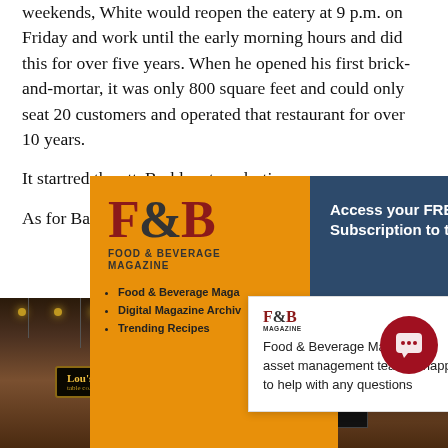weekends, White would reopen the eatery at 9 p.m. on Friday and work until the early morning hours and did this for over five years. When he opened his first brick-and-mortar, it was only 800 square feet and could only seat 20 customers and operated that restaurant for over 10 years.
It start…red the atte…Barkle…nto a desti…
As for B…a uniqu…
[Figure (screenshot): Popup overlay showing Food & Beverage Magazine advertisement with orange background, logo, list items (Food & Beverage Magazine, Digital Magazine Archive, Trending Recipes), and FREE! Click button. A dark blue panel shows 'Access your FREE Subscription to the Go-' with an X close button. A white popup shows Food & Beverage Magazine's asset management team is happy to help with any questions.]
[Figure (photo): Interior of a restaurant showing hanging lights, wooden decor, a Lou's sign, and menu boards.]